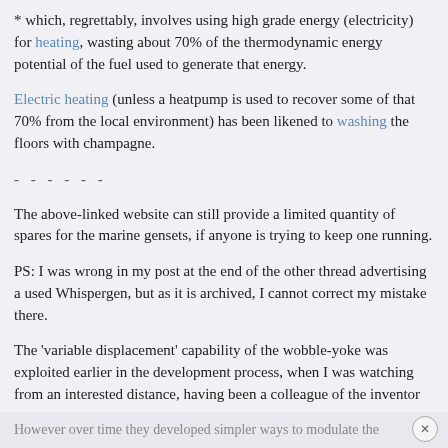* which, regrettably, involves using high grade energy (electricity) for heating, wasting about 70% of the thermodynamic energy potential of the fuel used to generate that energy.
Electric heating (unless a heatpump is used to recover some of that 70% from the local environment) has been likened to washing the floors with champagne.
- - - - - -
The above-linked website can still provide a limited quantity of spares for the marine gensets, if anyone is trying to keep one running.
PS: I was wrong in my post at the end of the other thread advertising a used Whispergen, but as it is archived, I cannot correct my mistake there.
The 'variable displacement' capability of the wobble-yoke was exploited earlier in the development process, when I was watching from an interested distance, having been a colleague of the inventor
However over time they developed simpler ways to modulate the